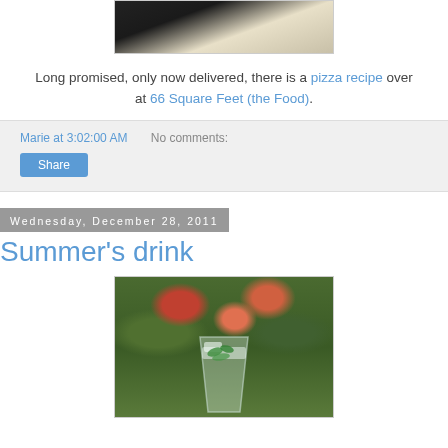[Figure (photo): Top portion of a photo showing a dark background with a light-colored object (hat or bag), cropped at the top]
Long promised, only now delivered, there is a pizza recipe over at 66 Square Feet (the Food).
Marie at 3:02:00 AM   No comments:
Share
Wednesday, December 28, 2011
Summer's drink
[Figure (photo): Photo of a glass with ice and mint leaves (mojito or similar drink) against a blurred colorful green and red bokeh background]